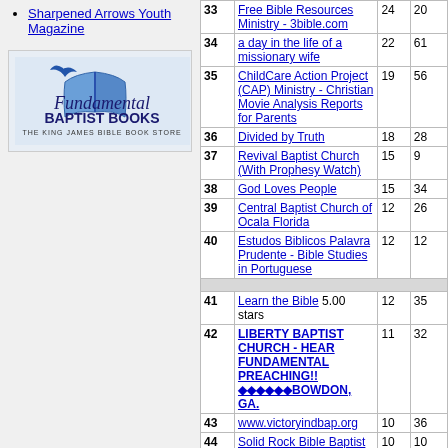Sharpened Arrows Youth Magazine
[Figure (logo): Fundamental Baptist Books - The King James Bible Book Store logo with open book graphic]
| # | Site | Col3 | Col4 |
| --- | --- | --- | --- |
| 33 | Free Bible Resources Ministry - 3bible.com | 24 | 20 |
| 34 | a day in the life of a missionary wife | 22 | 61 |
| 35 | ChildCare Action Project (CAP) Ministry - Christian Movie Analysis Reports for Parents | 19 | 56 |
| 36 | Divided by Truth | 18 | 28 |
| 37 | Revival Baptist Church (With Prophesy Watch) | 15 | 9 |
| 38 | God Loves People | 15 | 34 |
| 39 | Central Baptist Church of Ocala Florida | 12 | 26 |
| 40 | Estudos Biblicos Palavra Prudente - Bible Studies in Portuguese | 12 | 12 |
| (separator) |  |  |  |
| 41 | Learn the Bible 5.00 stars | 12 | 35 |
| 42 | LIBERTY BAPTIST CHURCH - HEAR FUNDAMENTAL PREACHING!! ◆◆◆◆◆◆BOWDON, GA. | 11 | 32 |
| 43 | www.victoryindbap.org | 10 | 36 |
| 44 | Solid Rock Bible Baptist Church, Blackstone, Massachusetts | 10 | 10 |
| 45 | Amazing Grace Bible Institute | 9 | 5 |
| 46 | Faithful Word Baptist Church | 9 | 5 |
| 47 | star independent baptist church | 6 | 2 |
| 48 | Biblebelievers.Com - Many Free Resources - Written & | 6 | 12 |